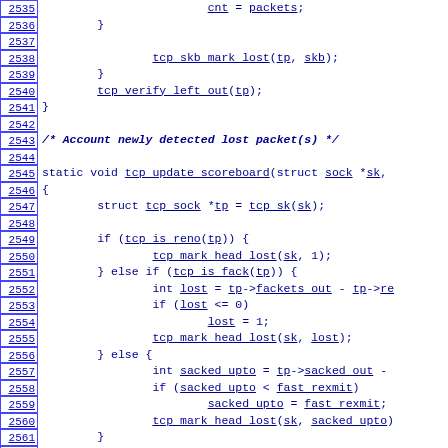[Figure (screenshot): Source code viewer showing C code lines 2535-2565 with line numbers on left and syntax-highlighted code on right. Functions and variables are underlined blue hyperlinks.]